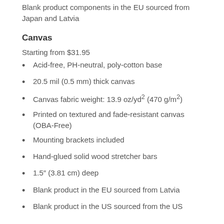Blank product components in the EU sourced from Japan and Latvia
Canvas
Starting from $31.95
Acid-free, PH-neutral, poly-cotton base
20.5 mil (0.5 mm) thick canvas
Canvas fabric weight: 13.9 oz/yd² (470 g/m²)
Printed on textured and fade-resistant canvas (OBA-Free)
Mounting brackets included
Hand-glued solid wood stretcher bars
1.5″ (3.81 cm) deep
Blank product in the EU sourced from Latvia
Blank product in the US sourced from the US